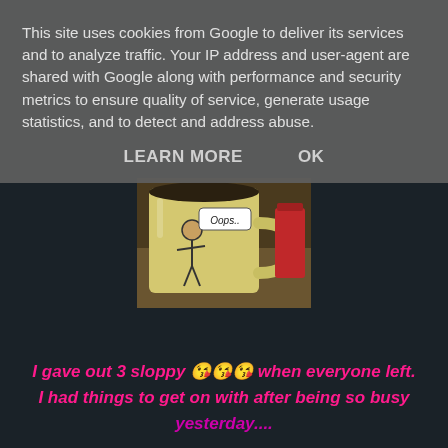This site uses cookies from Google to deliver its services and to analyze traffic. Your IP address and user-agent are shared with Google along with performance and security metrics to ensure quality of service, generate usage statistics, and to detect and address abuse.
LEARN MORE   OK
[Figure (photo): A ceramic coffee mug with a cartoon character saying 'Oops..' on a yellow background, with a red candle and other items in the background on a table.]
I gave out 3 sloppy 😘😘😘 when everyone left. I had things to get on with after being so busy yesterday....